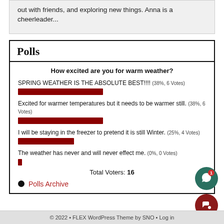out with friends, and exploring new things. Anna is a cheerleader...
Polls
How excited are you for warm weather?
[Figure (bar-chart): How excited are you for warm weather?]
Total Voters: 16
Polls Archive
© 2022 • FLEX WordPress Theme by SNO • Log in